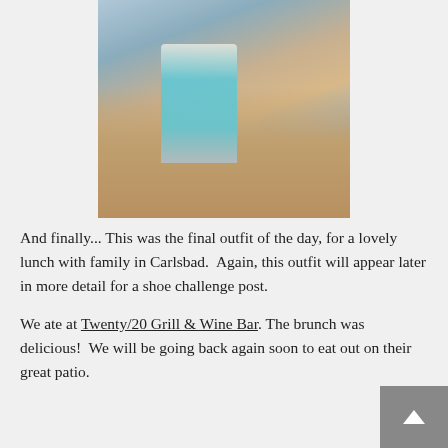[Figure (photo): A woman wearing a white cardigan and a teal/turquoise patterned skirt, carrying a white handbag, standing outdoors on a patio area with a black lamp post and greenery in the background.]
And finally... This was the final outfit of the day, for a lovely lunch with family in Carlsbad.  Again, this outfit will appear later in more detail for a shoe challenge post.
We ate at Twenty/20 Grill & Wine Bar. The brunch was delicious!  We will be going back again soon to eat out on their great patio.